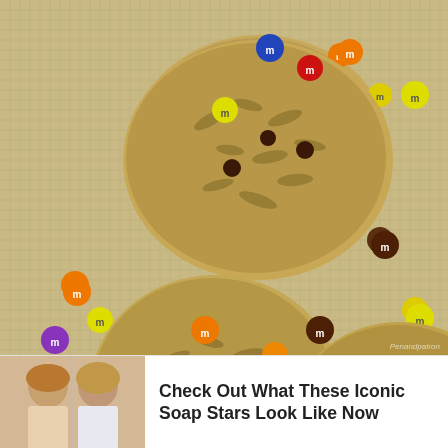[Figure (photo): Overhead close-up photo of oatmeal monster cookies with colorful M&M candies (orange, yellow, red, blue, green, brown) scattered on a baking mat. Several large oatmeal cookies are visible from a top-down angle.]
[Figure (photo): Small thumbnail image of two women (soap opera stars) side by side]
Check Out What These Iconic Soap Stars Look Like Now